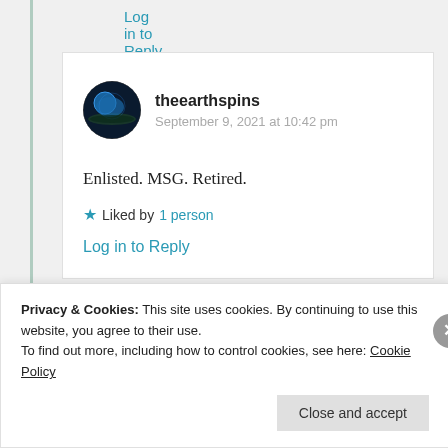Log in to Reply
[Figure (illustration): Circular avatar showing a globe/earth image with dark background and blue planet]
theearthspins
September 9, 2021 at 10:42 pm
Enlisted. MSG. Retired.
★ Liked by 1 person
Log in to Reply
Privacy & Cookies: This site uses cookies. By continuing to use this website, you agree to their use.
To find out more, including how to control cookies, see here: Cookie Policy
Close and accept